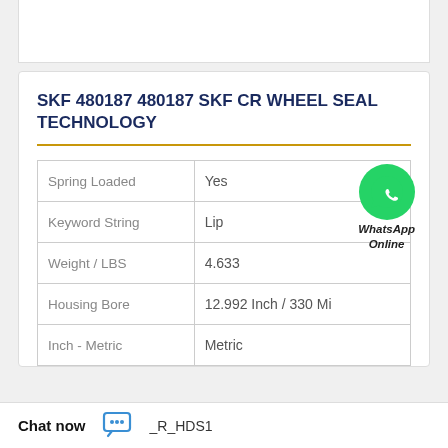SKF 480187 480187 SKF CR WHEEL SEAL TECHNOLOGY
| Property | Value |
| --- | --- |
| Spring Loaded | Yes |
| Keyword String | Lip |
| Weight / LBS | 4.633 |
| Housing Bore | 12.992 Inch / 330 Mi |
| Inch - Metric | Metric |
[Figure (other): WhatsApp Online chat button with green phone icon]
_R_HDS1
Chat now